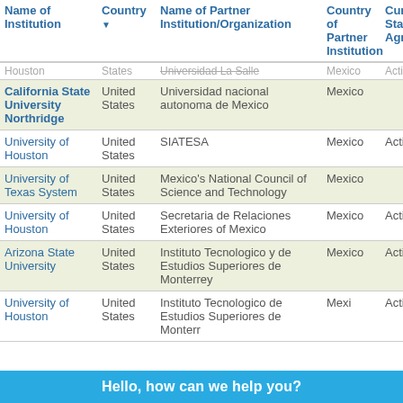| Name of Institution | Country | Name of Partner Institution/Organization | Country of Partner Institution | Current Status of Agreement |
| --- | --- | --- | --- | --- |
| Houston | States | Universidad La Salle | Mexico | Active |
| California State University Northridge | United States | Universidad nacional autonoma de Mexico | Mexico |  |
| University of Houston | United States | SIATESA | Mexico | Active |
| University of Texas System | United States | Mexico's National Council of Science and Technology | Mexico |  |
| University of Houston | United States | Secretaria de Relaciones Exteriores of Mexico | Mexico | Active |
| Arizona State University | United States | Instituto Tecnologico y de Estudios Superiores de Monterrey | Mexico | Active |
| University of Houston | United States | Instituto Tecnologico de Estudios Superiores de Monterrey | Mexico | Active |
Hello, how can we help you?